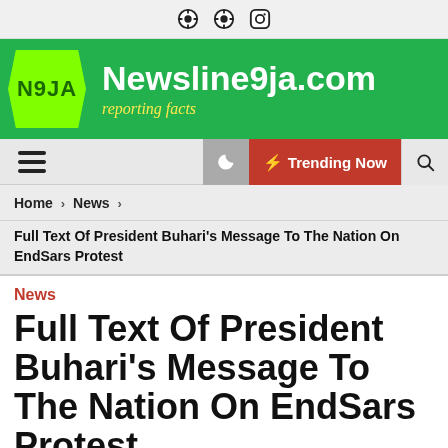Social icons: WordPress, WordPress, Instagram
[Figure (logo): Newsline9ja.com site header with green background, N9JA logo, site name and tagline 'reporting facts']
Navigation bar: Hamburger menu, moon/dark mode, Trending Now, Search
Home > News >
Full Text Of President Buhari's Message To The Nation On EndSars Protest
News
Full Text Of President Buhari's Message To The Nation On EndSars Protest